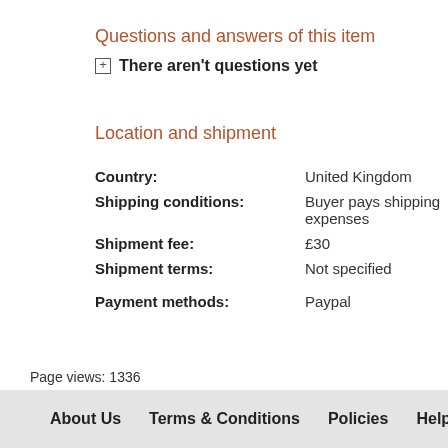Questions and answers of this item
There aren't questions yet
Location and shipment
| Field | Value |
| --- | --- |
| Country: | United Kingdom |
| Shipping conditions: | Buyer pays shipping expenses |
| Shipment fee: | £30 |
| Shipment terms: | Not specified |
| Payment methods: | Paypal |
Page views: 1336
About Us   Terms & Conditions   Policies   Help us grow   In